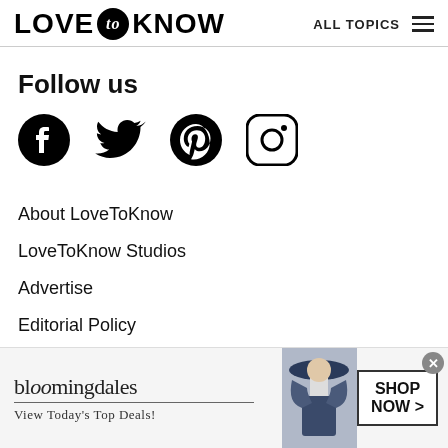LOVE to KNOW   ALL TOPICS
Follow us
[Figure (infographic): Social media icons: Facebook, Twitter, Pinterest, Instagram]
About LoveToKnow
LoveToKnow Studios
Advertise
Editorial Policy
[Figure (infographic): Bloomingdale's advertisement banner: 'View Today's Top Deals!' with SHOP NOW > button and woman wearing a hat]